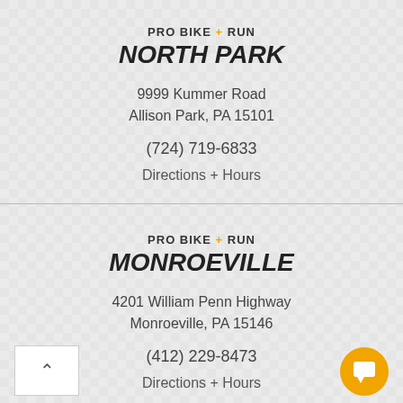PRO BIKE + RUN NORTH PARK
9999 Kummer Road
Allison Park, PA 15101
(724) 719-6833
Directions + Hours
PRO BIKE + RUN MONROEVILLE
4201 William Penn Highway
Monroeville, PA 15146
(412) 229-8473
Directions + Hours